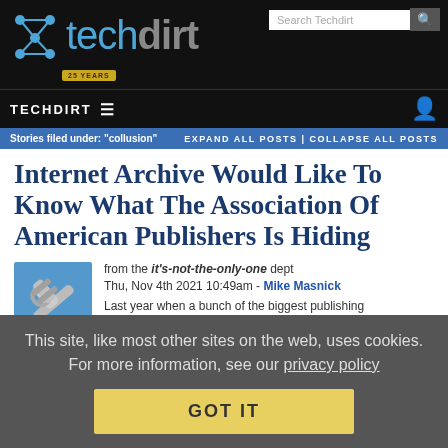[Figure (logo): Techdirt logo with node icon and '25 YEARS' badge on black background]
TECHDIRT ≡
Stories filed under: "collusion" EXPAND ALL POSTS | COLLAPSE ALL POSTS
Internet Archive Would Like To Know What The Association Of American Publishers Is Hiding
[Figure (illustration): Article thumbnail showing a wrench/tool icon on blue background]
from the it's-not-the-only-one dept
Thu, Nov 4th 2021 10:49am - Mike Masnick
Last year when a bunch of the biggest publishing
This site, like most other sites on the web, uses cookies. For more information, see our privacy policy
GOT IT